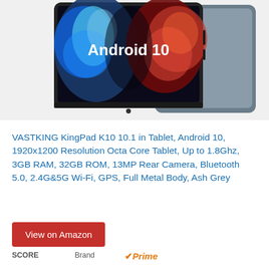[Figure (photo): VASTKING KingPad K10 tablet showing front and back, with Android 10 displayed on screen against a blue and red abstract background]
VASTKING KingPad K10 10.1 in Tablet, Android 10, 1920x1200 Resolution Octa Core Tablet, Up to 1.8Ghz, 3GB RAM, 32GB ROM, 13MP Rear Camera, Bluetooth 5.0, 2.4G&5G Wi-Fi, GPS, Full Metal Body, Ash Grey
View on Amazon
SCORE   Brand   ✓Prime